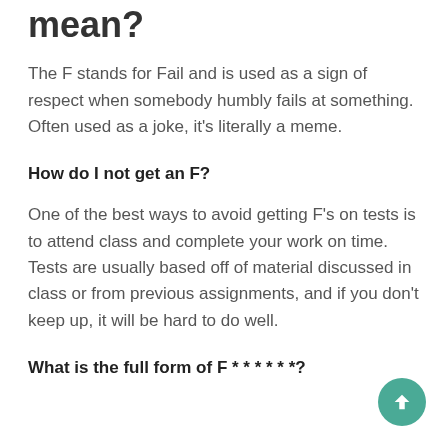mean?
The F stands for Fail and is used as a sign of respect when somebody humbly fails at something. Often used as a joke, it's literally a meme.
How do I not get an F?
One of the best ways to avoid getting F's on tests is to attend class and complete your work on time. Tests are usually based off of material discussed in class or from previous assignments, and if you don't keep up, it will be hard to do well.
What is the full form of F * * * * * *?